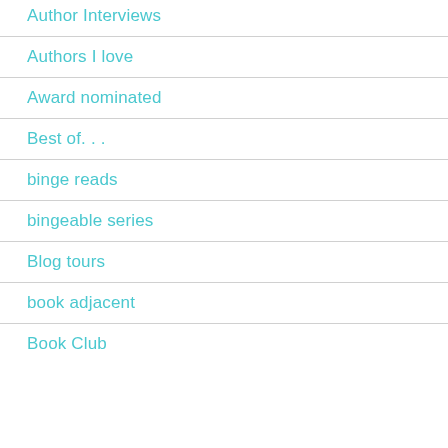Author Interviews
Authors I love
Award nominated
Best of. . .
binge reads
bingeable series
Blog tours
book adjacent
Book Club